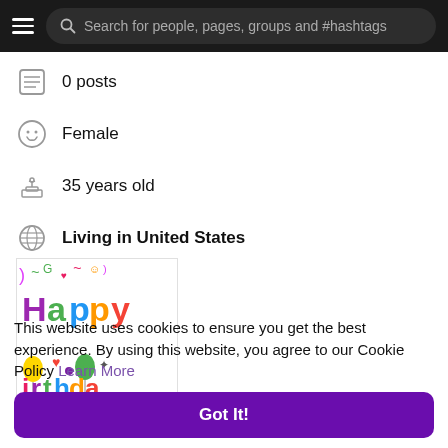Search for people, pages, groups and #hashtags
0 posts
Female
35 years old
Living in United States
[Figure (illustration): Happy Birthday colorful cartoon illustration with decorative text reading 'Happy Birthday' in multiple colors with balloons, hearts, and swirls. Credit: © Prawny · www.ClipArtOf.com/76565]
This website uses cookies to ensure you get the best experience. By using this website, you agree to our Cookie Policy Learn More
Got It!